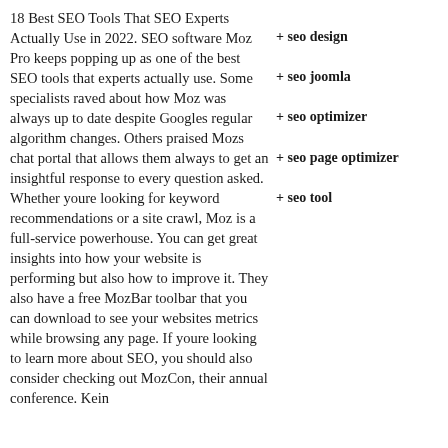18 Best SEO Tools That SEO Experts Actually Use in 2022. SEO software Moz Pro keeps popping up as one of the best SEO tools that experts actually use. Some specialists raved about how Moz was always up to date despite Googles regular algorithm changes. Others praised Mozs chat portal that allows them always to get an insightful response to every question asked. Whether youre looking for keyword recommendations or a site crawl, Moz is a full-service powerhouse. You can get great insights into how your website is performing but also how to improve it. They also have a free MozBar toolbar that you can download to see your websites metrics while browsing any page. If youre looking to learn more about SEO, you should also consider checking out MozCon, their annual conference. Kein...
+ seo design
+ seo joomla
+ seo optimizer
+ seo page optimizer
+ seo tool